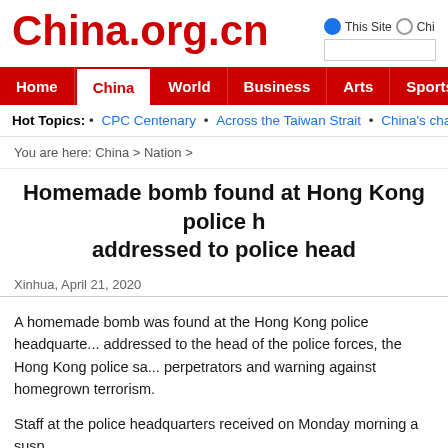China.org.cn
This Site  Chi...
Home | China | World | Business | Arts | Sports | Travel | Opinio...
Hot Topics: • CPC Centenary • Across the Taiwan Strait • China's changemakers •
You are here: China > Nation >
Homemade bomb found at Hong Kong police h... addressed to police head...
Xinhua, April 21, 2020
A homemade bomb was found at the Hong Kong police headquarte... addressed to the head of the police forces, the Hong Kong police sa... perpetrators and warning against homegrown terrorism.
Staff at the police headquarters received on Monday morning a susp...